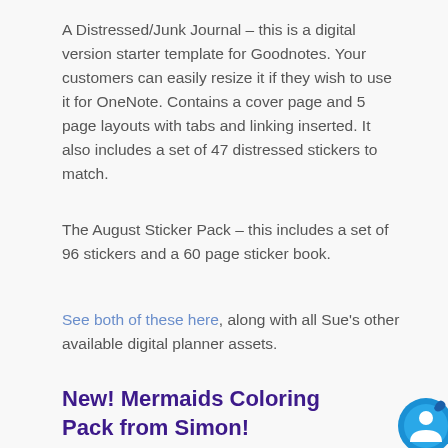A Distressed/Junk Journal – this is a digital version starter template for Goodnotes. Your customers can easily resize it if they wish to use it for OneNote. Contains a cover page and 5 page layouts with tabs and linking inserted. It also includes a set of 47 distressed stickers to match.
The August Sticker Pack – this includes a set of 96 stickers and a 60 page sticker book.
See both of these here, along with all Sue's other available digital planner assets.
New! Mermaids Coloring Pack from Simon!